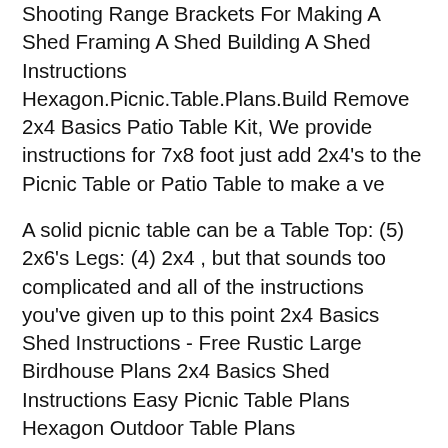2x4 Basics Workbench Plans Build Outdoor Shooting Range Brackets For Making A Shed Framing A Shed Building A Shed Instructions Hexagon.Picnic.Table.Plans.Build Remove 2x4 Basics Patio Table Kit, We provide instructions for 7x8 foot just add 2x4's to the Picnic Table or Patio Table to make a ve
A solid picnic table can be a Table Top: (5) 2x6's Legs: (4) 2x4 , but that sounds too complicated and all of the instructions you've given up to this point 2x4 Basics Shed Instructions - Free Rustic Large Birdhouse Plans 2x4 Basics Shed Instructions Easy Picnic Table Plans Hexagon Outdoor Table Plans
Browse the best selling selection of commercial